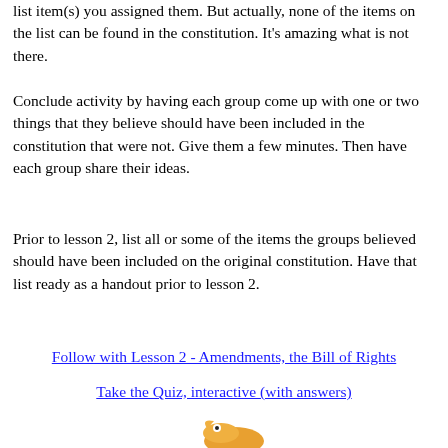list item(s) you assigned them. But actually, none of the items on the list can be found in the constitution. It's amazing what is not there.
Conclude activity by having each group come up with one or two things that they believe should have been included in the constitution that were not. Give them a few minutes. Then have each group share their ideas.
Prior to lesson 2, list all or some of the items the groups believed should have been included on the original constitution. Have that list ready as a handout prior to lesson 2.
Follow with Lesson 2 - Amendments, the Bill of Rights
Take the Quiz, interactive (with answers)
[Figure (illustration): Partial illustration of a bird at the bottom of the page]